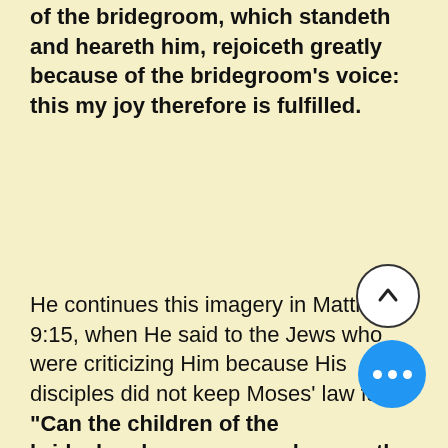of the bridegroom, which standeth and heareth him, rejoiceth greatly because of the bridegroom's voice: this my joy therefore is fulfilled.
He continues this imagery in Matthew 9:15, when He said to the Jews who were criticizing Him because His disciples did not keep Moses' law fast: “Can the children of the bridechamber mourn, as long as the bridegroom is with them? but the days will come when the bridegroom shall be taken from them, and then shall they fast.”